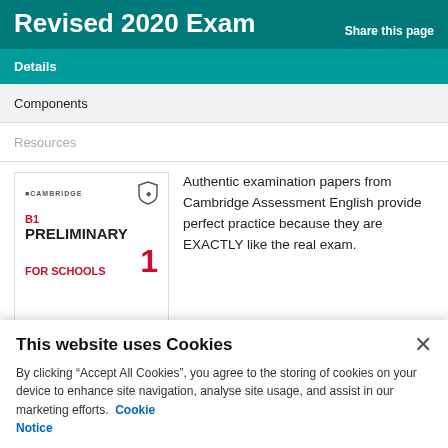Revised 2020 Exam
Share this page
Details
Components
Resources
[Figure (illustration): Book cover: B1 Preliminary for Schools 1, Cambridge Assessment English. Red and white cover with Cambridge logo and shield icon.]
Authentic examination papers from Cambridge Assessment English provide perfect practice because they are EXACTLY like the real exam.
This website uses Cookies
By clicking “Accept All Cookies”, you agree to the storing of cookies on your device to enhance site navigation, analyse site usage, and assist in our marketing efforts.  Cookie Notice